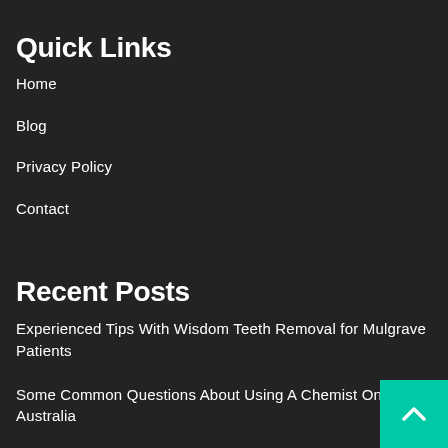Quick Links
Home
Blog
Privacy Policy
Contact
Recent Posts
Experienced Tips With Wisdom Teeth Removal for Mulgrave Patients
Some Common Questions About Using A Chemist Online In Australia
How to Set Out a Priority List With Italian Furniture